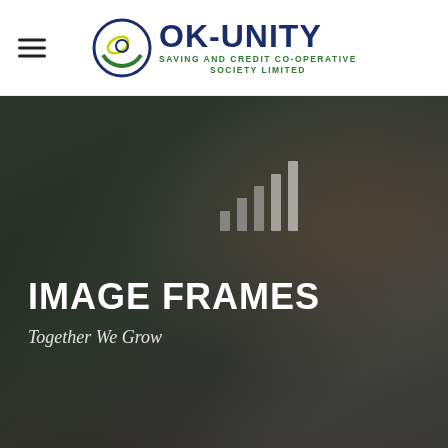[Figure (logo): OK-UNITY logo with circular green/yellow emblem and text 'OK-UNITY SAVING AND CREDIT CO-OPERATIVE SOCIETY LIMITED']
[Figure (photo): Hero banner with dark outdoor photo background showing a person in colorful clothing and headwrap, with text 'IMAGE FRAMES' and tagline 'Together We Grow', and a bar-chart icon overlay]